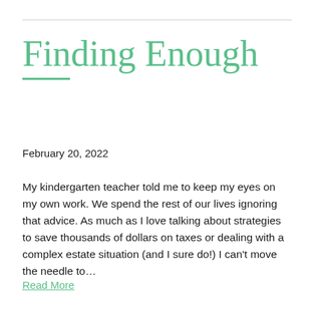Finding Enough
February 20, 2022
My kindergarten teacher told me to keep my eyes on my own work. We spend the rest of our lives ignoring that advice. As much as I love talking about strategies to save thousands of dollars on taxes or dealing with a complex estate situation (and I sure do!) I can’t move the needle to…
Read More